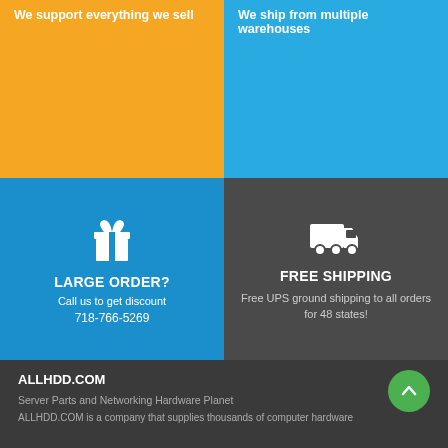We support everything we sell
We ship from multiple warehouses
[Figure (illustration): Gift box icon (white) on blue background with text: LARGE ORDER? / Call us to get discount / 718-766-5269]
[Figure (illustration): Delivery truck icon (white) on dark grey background with text: FREE SHIPPING / Free UPS ground shipping to all orders for 48 states!]
ALLHDD.COM
Server Parts and Networking Hardware Planet
ALLHDD.COM is a company that supplies thousands of computer hardware